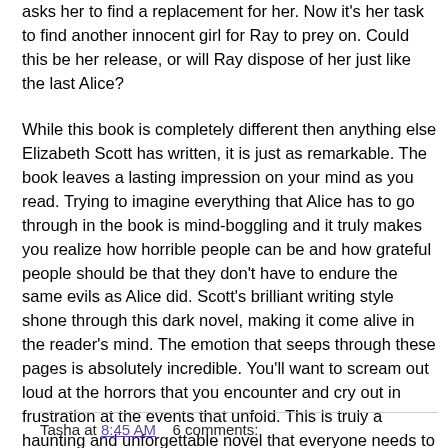asks her to find a replacement for her. Now it's her task to find another innocent girl for Ray to prey on. Could this be her release, or will Ray dispose of her just like the last Alice?
While this book is completely different then anything else Elizabeth Scott has written, it is just as remarkable. The book leaves a lasting impression on your mind as you read. Trying to imagine everything that Alice has to go through in the book is mind-boggling and it truly makes you realize how horrible people can be and how grateful people should be that they don't have to endure the same evils as Alice did. Scott's brilliant writing style shone through this dark novel, making it come alive in the reader's mind. The emotion that seeps through these pages is absolutely incredible. You'll want to scream out loud at the horrors that you encounter and cry out in frustration at the events that unfold. This is truly a haunting and unforgettable novel that everyone needs to read. It gives a one of a kind view into a world not much is known of, and one in which we all hope never to visit.
Tasha at 8:45 AM    6 comments: